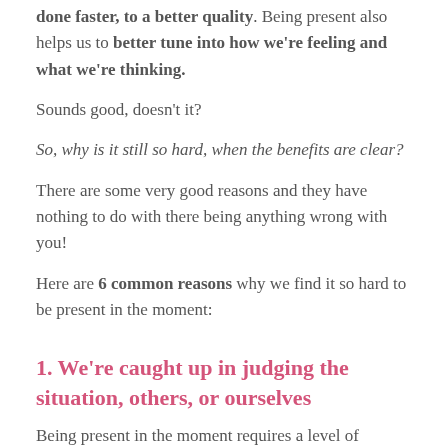done faster, to a better quality. Being present also helps us to better tune into how we're feeling and what we're thinking.
Sounds good, doesn't it?
So, why is it still so hard, when the benefits are clear?
There are some very good reasons and they have nothing to do with there being anything wrong with you!
Here are 6 common reasons why we find it so hard to be present in the moment:
1. We're caught up in judging the situation, others, or ourselves
Being present in the moment requires a level of